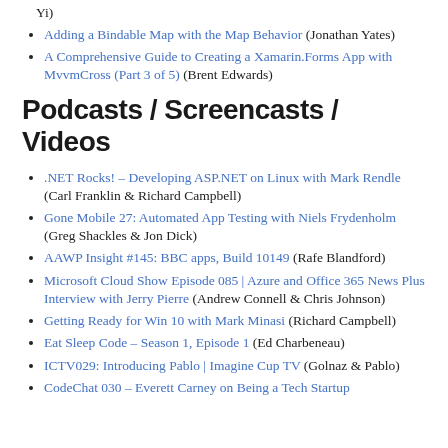Yi)
Adding a Bindable Map with the Map Behavior (Jonathan Yates)
A Comprehensive Guide to Creating a Xamarin.Forms App with MvvmCross (Part 3 of 5) (Brent Edwards)
Podcasts / Screencasts / Videos
.NET Rocks! – Developing ASP.NET on Linux with Mark Rendle (Carl Franklin & Richard Campbell)
Gone Mobile 27: Automated App Testing with Niels Frydenholm (Greg Shackles & Jon Dick)
AAWP Insight #145: BBC apps, Build 10149 (Rafe Blandford)
Microsoft Cloud Show Episode 085 | Azure and Office 365 News Plus Interview with Jerry Pierre (Andrew Connell & Chris Johnson)
Getting Ready for Win 10 with Mark Minasi (Richard Campbell)
Eat Sleep Code – Season 1, Episode 1 (Ed Charbeneau)
ICTV029: Introducing Pablo | Imagine Cup TV (Golnaz & Pablo)
CodeChat 030 – Everett Carney on Being a Tech Startup